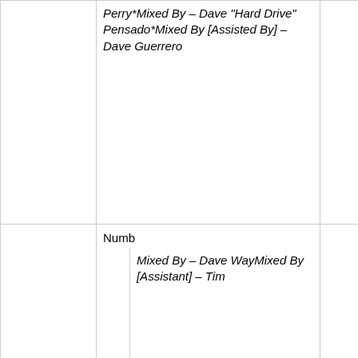|  | Perry*Mixed By – Dave "Hard Drive" Pensado*Mixed By [Assisted By] – Dave Guerrero |  |
|  | Numb
Mixed By – Dave WayMixed By [Assistant] – Tim |  |